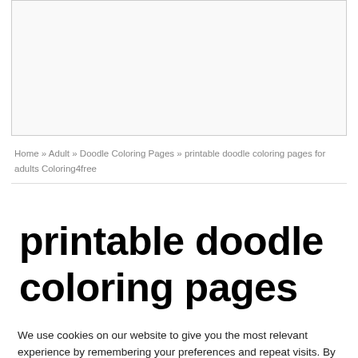[Figure (other): White rectangle placeholder image area with light gray border]
Home » Adult » Doodle Coloring Pages » printable doodle coloring pages for adults Coloring4free
printable doodle coloring pages for adults
We use cookies on our website to give you the most relevant experience by remembering your preferences and repeat visits. By clicking "Accept", you consent to the use of ALL the cookies.
Do not sell my personal information.